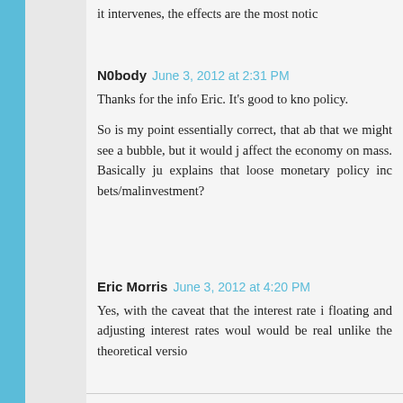it intervenes, the effects are the most notic
N0body June 3, 2012 at 2:31 PM
Thanks for the info Eric. It's good to kno policy.

So is my point essentially correct, that ab that we might see a bubble, but it would j affect the economy on mass. Basically ju explains that loose monetary policy inc bets/malinvestment?
Eric Morris June 3, 2012 at 4:20 PM
Yes, with the caveat that the interest rate i floating and adjusting interest rates woul would be real unlike the theoretical versio